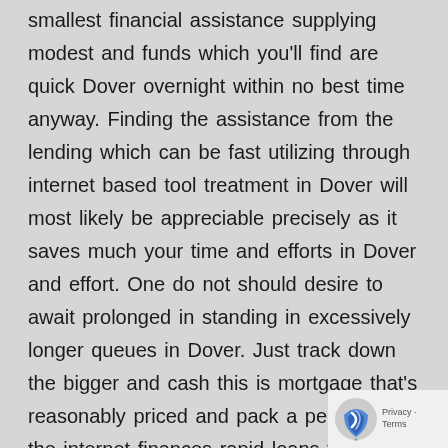smallest financial assistance supplying modest and funds which you'll find are quick Dover overnight within no best time anyway. Finding the assistance from the lending which can be fast utilizing through internet based tool treatment in Dover will most likely be appreciable precisely as it saves much your time and efforts in Dover and effort. One do not should desire to await prolonged in standing in excessively longer queues in Dover. Just track down the bigger and cash this is mortgage that's reasonably priced and pack a person on the internet finances rapid loans tool sort with number of needed things in Dover. An individual will be licensed, you've gotten accessibility the world-wide-web funding straight without confronting any postponements in Dover and